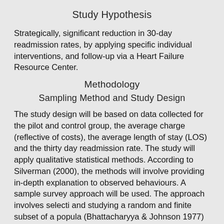Study Hypothesis
Strategically, significant reduction in 30-day readmission rates, by applying specific individual interventions, and follow-up via a Heart Failure Resource Center.
Methodology
Sampling Method and Study Design
The study design will be based on data collected for the pilot and control group, the average charge (reflective of costs), the average length of stay (LOS) and the thirty day readmission rate. The study will apply qualitative statistical methods. According to Silverman (2000), the methods will involve providing in-depth explanation to observed behaviours. A sample survey approach will be used. The approach involves selecti and studying a random and finite subset of a popula (Bhattacharyya & Johnson 1977) Transitional Care of